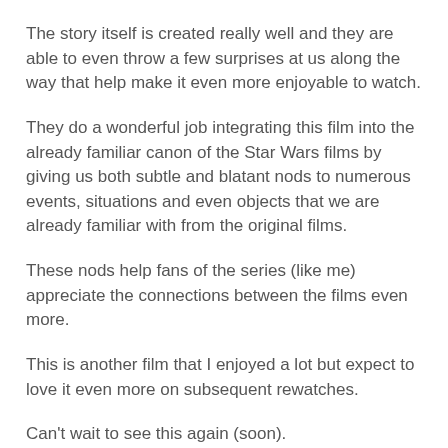The story itself is created really well and they are able to even throw a few surprises at us along the way that help make it even more enjoyable to watch.
They do a wonderful job integrating this film into the already familiar canon of the Star Wars films by giving us both subtle and blatant nods to numerous events, situations and even objects that we are already familiar with from the original films.
These nods help fans of the series (like me) appreciate the connections between the films even more.
This is another film that I enjoyed a lot but expect to love it even more on subsequent rewatches.
Can't wait to see this again (soon).
Great addition to the franchise and I hope they keep giving us more great stories from this wonderful Galaxy